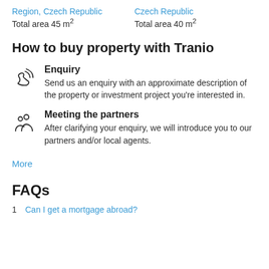Region, Czech Republic
Total area 45 m²
Czech Republic
Total area 40 m²
How to buy property with Tranio
Enquiry
Send us an enquiry with an approximate description of the property or investment project you're interested in.
Meeting the partners
After clarifying your enquiry, we will introduce you to our partners and/or local agents.
More
FAQs
Can I get a mortgage abroad?